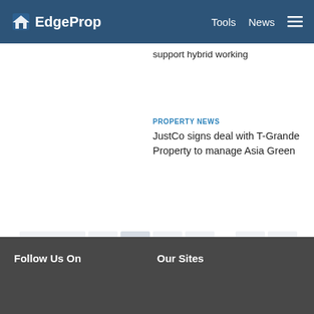EdgeProp — Tools  News
support hybrid working
PROPERTY NEWS
JustCo signs deal with T-Grande Property to manage Asia Green
First  ◄  1  2  3  ...  10  ►  Last
Follow Us On    Our Sites